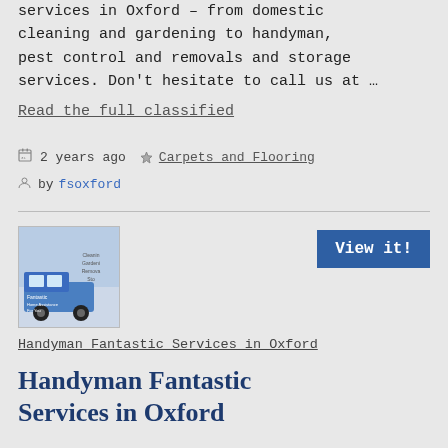services in Oxford – from domestic cleaning and gardening to handyman, pest control and removals and storage services. Don't hesitate to call us at …
Read the full classified
2 years ago  Carpets and Flooring  by fsoxford
[Figure (photo): Thumbnail image of a van with text about Handyman Fantastic Services in Oxford]
View it!
Handyman Fantastic Services in Oxford
Handyman Fantastic Services in Oxford